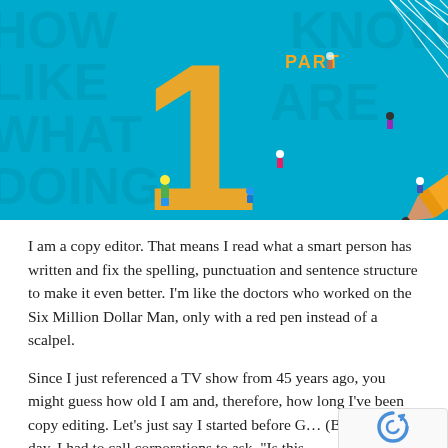[Figure (illustration): Illustrated header image on teal/blue background showing a large orange number '1' with the word 'PART' above it, and a yellow pencil hanging from strings like a marionette, with small human figures around it. Background text reads words like HOW, LIKE, KNOW, WHAT, DOING, ARE.]
I am a copy editor. That means I read what a smart person has written and fix the spelling, punctuation and sentence structure to make it even better. I’m like the doctors who worked on the Six Million Dollar Man, only with a red pen instead of a scalpel.
Since I just referenced a TV show from 45 years ago, you might guess how old I am and, therefore, how long I’ve been copy editing. Let’s just say I started before G… (Back in the day, I had to call corporations to ask, “Is this